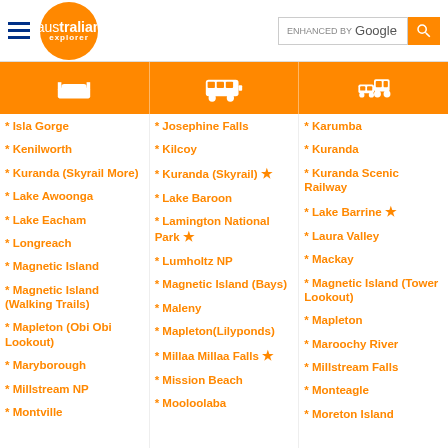australian explorer | ENHANCED BY Google
[Figure (illustration): Orange icon bar with three columns: bed/accommodation icon, bus/tour icon, car/drive icon]
* Isla Gorge
* Kenilworth
* Kuranda (Skyrail More)
* Lake Awoonga
* Lake Eacham
* Longreach
* Magnetic Island
* Magnetic Island (Walking Trails)
* Mapleton (Obi Obi Lookout)
* Maryborough
* Millstream NP
* Montville
* Josephine Falls
* Kilcoy
* Kuranda (Skyrail) ★
* Lake Baroon
* Lamington National Park ★
* Lumholtz NP
* Magnetic Island (Bays)
* Maleny
* Mapleton(Lilyponds)
* Millaa Millaa Falls ★
* Mission Beach
* Mooloolaba
* Karumba
* Kuranda
* Kuranda Scenic Railway
* Lake Barrine ★
* Laura Valley
* Mackay
* Magnetic Island (Tower Lookout)
* Mapleton
* Maroochy River
* Millstream Falls
* Monteagle
* Moreton Island